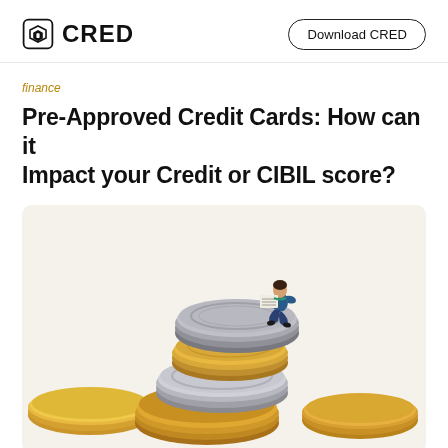CRED | Download CRED
finance
Pre-Approved Credit Cards: How can it Impact your Credit or CIBIL score?
[Figure (photo): A miniature figurine of a man reading a newspaper, sitting atop a large stack of gold and silver coins on a white/cream background.]